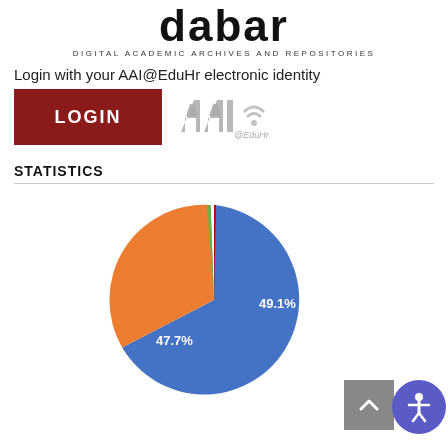[Figure (logo): DABAR - Digital Academic Archives and Repositories logo with large stylized text and subtitle]
Login with your AAI@EduHr electronic identity
[Figure (other): Dark red LOGIN button and AAI@EduHr logo]
STATISTICS
[Figure (pie-chart): Statistics pie chart]